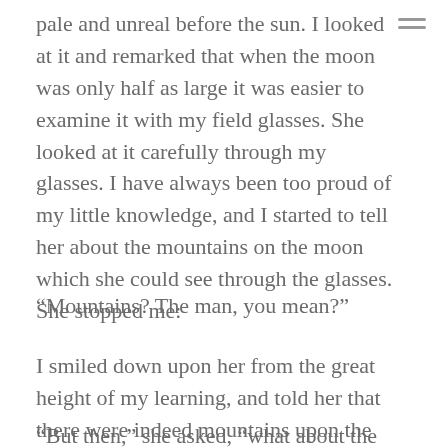pale and unreal before the sun. I looked at it and remarked that when the moon was only half as large it was easier to examine it with my field glasses. She looked at it carefully through my glasses. I have always been too proud of my little knowledge, and I started to tell her about the mountains on the moon which she could see through the glasses. She stopped me:
“Mountains? The man, you mean?”
I smiled down upon her from the great height of my learning, and told her that there were indeed mountains upon the moon.
“But then,” she asked, “what about the man